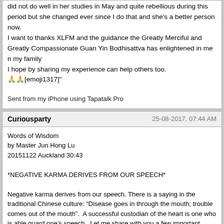did not do well in her studies in May and quite rebellious during this period but she changed ever since I do that and she's a better person now.
I want to thanks XLFM and the guidance the Greatly Merciful and Greatly Compassionate Guan Yin Bodhisattva has enlightened in me n my family
I hope by sharing my experience can help others too.
🙏🙏[emoji1317]"

Sent from my iPhone using Tapatalk Pro
Curiousparty
25-08-2017, 07:44 AM
Words of Wisdom
by Master Jun Hong Lu
20151122 Auckland 30:43

*NEGATIVE KARMA DERIVES FROM OUR SPEECH*

Negative karma derives from our speech. There is a saying in the traditional Chinese culture: “Disease goes in through the mouth; trouble comes out of the mouth”.  A successful custodian of the heart is one who is able guard one’s speech.  Let me share with you a few important words:

- When you DO NOT know something, do not say it simply
- When you DO know something, do not say much
- When you are disconcerted, say it slowly